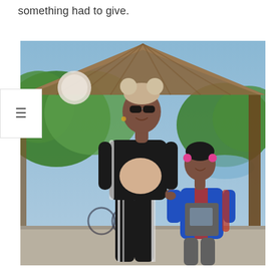something had to give.
[Figure (photo): A pregnant woman wearing sunglasses, a beige Minnie Mouse ear headband, a black track jacket with white stripe detailing, and black Adidas leggings with three white stripes, standing under a wooden gazebo and holding hands with a young girl in a blue hoodie and gray graphic t-shirt, both smiling. Green trees and a park setting visible in the background.]